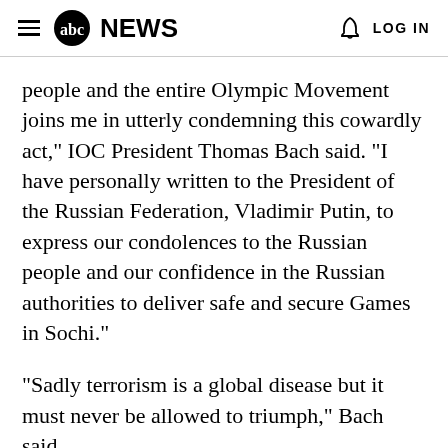abc NEWS  LOG IN
people and the entire Olympic Movement joins me in utterly condemning this cowardly act," IOC President Thomas Bach said. "I have personally written to the President of the Russian Federation, Vladimir Putin, to express our condolences to the Russian people and our confidence in the Russian authorities to deliver safe and secure Games in Sochi."
"Sadly terrorism is a global disease but it must never be allowed to triumph," Bach said.
People in Volgograd are terrified, with many refusing to take public transport, according to